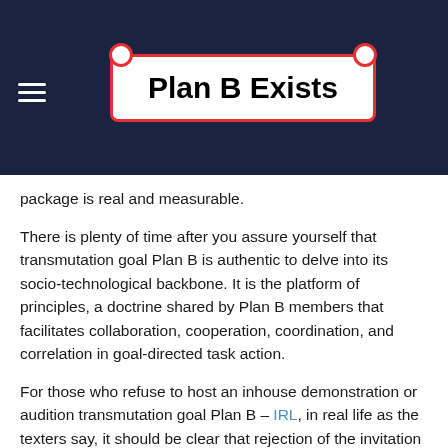Plan B Exists
package is real and measurable.
There is plenty of time after you assure yourself that transmutation goal Plan B is authentic to delve into its socio-technological backbone. It is the platform of principles, a doctrine shared by Plan B members that facilitates collaboration, cooperation, coordination, and correlation in goal-directed task action.
For those who refuse to host an inhouse demonstration or audition transmutation goal Plan B – IRL, in real life as the texters say, it should be clear that rejection of the invitation to first-hand transmutation Plan B experience in no way controverts the Plan B ideology, paradigm, algorithms, principles. Refusal examples the final barrier, discussed in